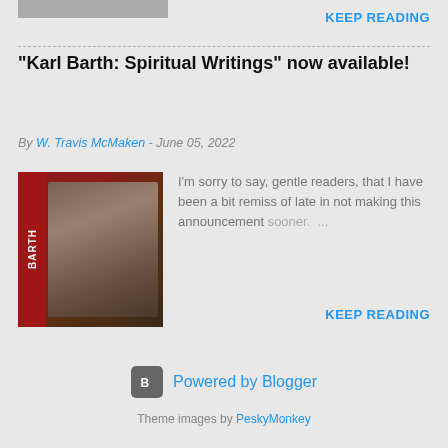[Figure (photo): Partial photo at top of page, cropped]
KEEP READING
"Karl Barth: Spiritual Writings" now available!
By W. Travis McMaken - June 05, 2022
[Figure (photo): Book thumbnail with red spine labeled BARTH and a person seated]
I'm sorry to say, gentle readers, that I have been a bit remiss of late in not making this announcement sooner. ...
KEEP READING
Powered by Blogger
Theme images by PeskyMonkey